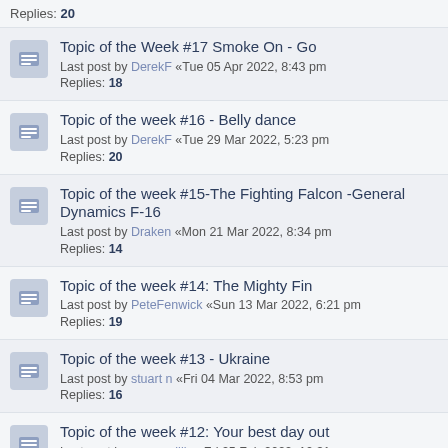Replies: 20
Topic of the Week #17 Smoke On - Go
Last post by DerekF «Tue 05 Apr 2022, 8:43 pm
Replies: 18
Topic of the week #16 - Belly dance
Last post by DerekF «Tue 29 Mar 2022, 5:23 pm
Replies: 20
Topic of the week #15-The Fighting Falcon -General Dynamics F-16
Last post by Draken «Mon 21 Mar 2022, 8:34 pm
Replies: 14
Topic of the week #14: The Mighty Fin
Last post by PeteFenwick «Sun 13 Mar 2022, 6:21 pm
Replies: 19
Topic of the week #13 - Ukraine
Last post by stuart n «Fri 04 Mar 2022, 8:53 pm
Replies: 16
Topic of the week #12: Your best day out
Last post by capercaillie «Fri 25 Feb 2022, 10:31 am